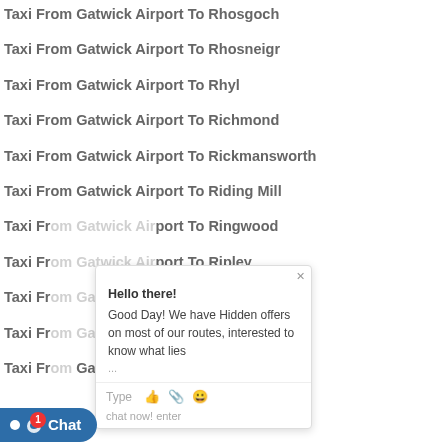Taxi From Gatwick Airport To Rhosgoch
Taxi From Gatwick Airport To Rhosneigr
Taxi From Gatwick Airport To Rhyl
Taxi From Gatwick Airport To Richmond
Taxi From Gatwick Airport To Rickmansworth
Taxi From Gatwick Airport To Riding Mill
Taxi From Gatwick Airport To Ringwood
Taxi From Gatwick Airport To Ripley
Taxi From Gatwick Airport To Ripon
Taxi From Gatwick Airport To Robertsbridge
Taxi From Gatwick Airport To Rochdale
[Figure (screenshot): Live chat popup overlay showing 'Hello there! Good Day! We have Hidden offers on most of our routes, interested to know what lies...' with a text input bar and emoji/attachment icons, and a close (×) button.]
[Figure (screenshot): Chat widget button at bottom left: blue pill-shaped button with white dot icon and 'Chat' text, with a red notification badge showing '1'.]